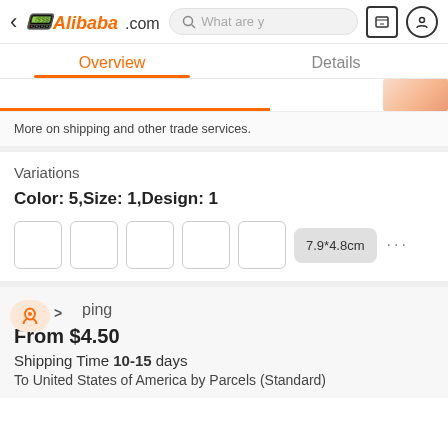< Alibaba.com  [search] [message] [profile]
Overview | Details
More on shipping and other trade services.
Variations
Color: 5,Size: 1,Design: 1
7.9*4.8cm ...
> ping
From $4.50
Shipping Time 10-15 days
To United States of America by Parcels (Standard)